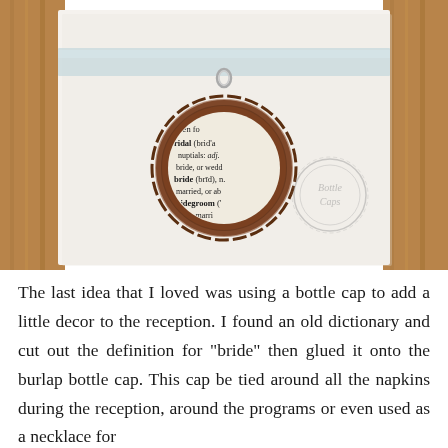[Figure (photo): A bottle cap pendant on a light blue ribbon necklace, displayed on a white card. The bottle cap has a dark brown/bronze scalloped edge and contains a cut-out dictionary definition showing words like 'bridal', 'bride', 'bridegroom'. A 'Bottle Caps' watermark logo is visible in the lower right. The card is set against a warm brown wooden background.]
The last idea that I loved was using a bottle cap to add a little decor to the reception. I found an old dictionary and cut out the definition for "bride" then glued it onto the burlap bottle cap. This cap be tied around all the napkins during the reception, around the programs or even used as a necklace for